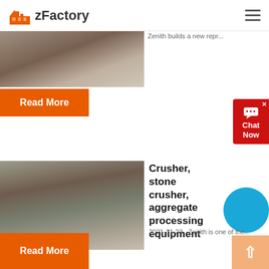zFactory
[Figure (photo): Partial view of a rail/conveyor industrial site photo (top cropped)]
Zenith builds a new repr...
Read More
[Figure (photo): Chat Now widget button (red background with chat bubble icon)]
[Figure (photo): Stone crusher / aggregate processing equipment in a quarry]
Crusher, stone crusher, aggregate processing equipment
2021-11-23   Zenith is one of the...
Read More